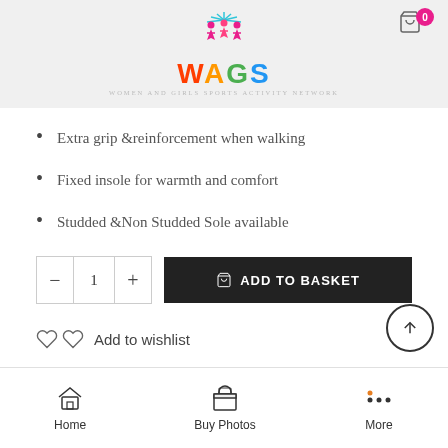WAGS — Women and Girls Sports Activity Network
Extra grip &reinforcement when walking
Fixed insole for warmth and comfort
Studded &Non Studded Sole available
Quantity: 1 | ADD TO BASKET
Add to wishlist
Category: Images
Share: Twitter Facebook VK Pinterest Email LinkedIn WhatsApp Skype
Home | Buy Photos | More